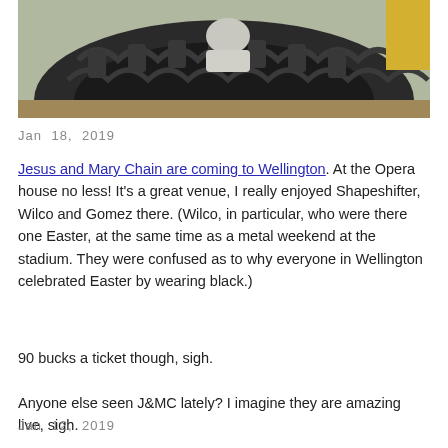[Figure (photo): Person sitting inside or behind a large tractor tire outdoors]
Jan 18, 2019
Jesus and Mary Chain are coming to Wellington. At the Opera house no less! It’s a great venue, I really enjoyed Shapeshifter, Wilco and Gomez there. (Wilco, in particular, who were there one Easter, at the same time as a metal weekend at the stadium. They were confused as to why everyone in Wellington celebrated Easter by wearing black.)

90 bucks a ticket though, sigh.

Anyone else seen J&MC lately? I imagine they are amazing live, sigh.
Jan 12, 2019